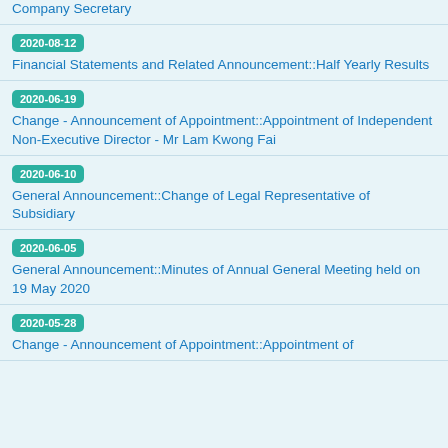Company Secretary
2020-08-12 | Financial Statements and Related Announcement::Half Yearly Results
2020-06-19 | Change - Announcement of Appointment::Appointment of Independent Non-Executive Director - Mr Lam Kwong Fai
2020-06-10 | General Announcement::Change of Legal Representative of Subsidiary
2020-06-05 | General Announcement::Minutes of Annual General Meeting held on 19 May 2020
2020-05-28 | Change - Announcement of Appointment::Appointment of...